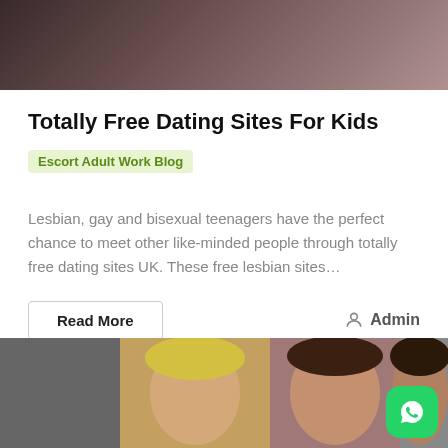[Figure (photo): Top dark-toned photo, partial view of a person]
Totally Free Dating Sites For Kids
Escort Adult Work Blog
Lesbian, gay and bisexual teenagers have the perfect chance to meet other like-minded people through totally free dating sites UK. These free lesbian sites…
Read More
Admin
[Figure (photo): Bottom section with date badge '17 APR. 2020', text 'OFF', photos of women, and WhatsApp button]